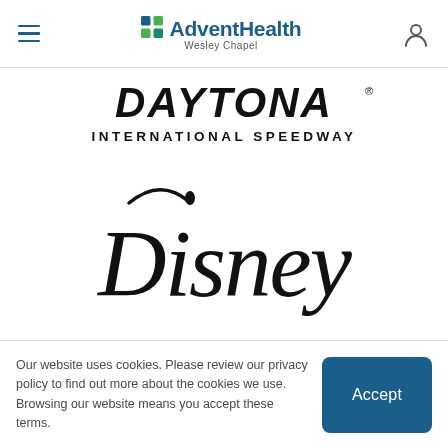AdventHealth Wesley Chapel — navigation header with hamburger menu and user icon
[Figure (logo): Daytona International Speedway logo in black bold lettering]
[Figure (logo): Disney logo in classic black script lettering]
Our website uses cookies. Please review our privacy policy to find out more about the cookies we use. Browsing our website means you accept these terms.